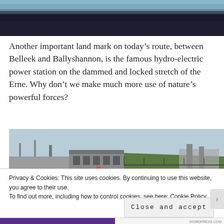[Figure (photo): Top portion of a photo showing water/landscape, partially cropped, with dark bar below it]
Another important land mark on today’s route, between Belleek and Ballyshannon, is the famous hydro-electric power station on the dammed and locked stretch of the Erne. Why don’t we make much more use of nature’s powerful forces?
[Figure (photo): Photograph of a hydro-electric power station building with surrounding landscape, grassy embankments, industrial structures, and blue sky]
Privacy & Cookies: This site uses cookies. By continuing to use this website, you agree to their use.
To find out more, including how to control cookies, see here: Cookie Policy
Close and accept